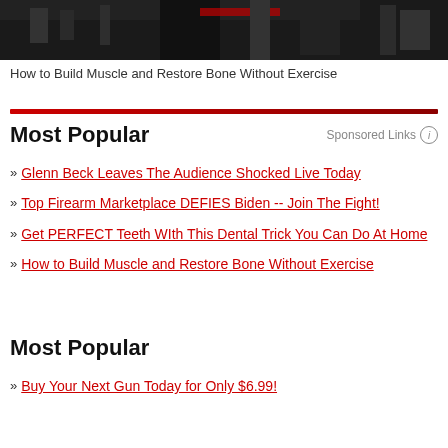[Figure (photo): Dark gym/fitness equipment photo, partially visible at top of page]
How to Build Muscle and Restore Bone Without Exercise
Most Popular
Glenn Beck Leaves The Audience Shocked Live Today
Top Firearm Marketplace DEFIES Biden -- Join The Fight!
Get PERFECT Teeth WIth This Dental Trick You Can Do At Home
How to Build Muscle and Restore Bone Without Exercise
Most Popular
Buy Your Next Gun Today for Only $6.99!